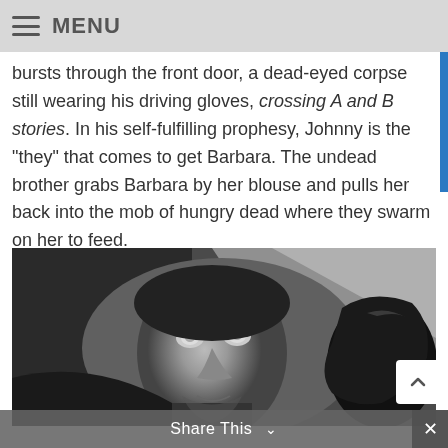MENU
bursts through the front door, a dead-eyed corpse still wearing his driving gloves, crossing A and B stories. In his self-fulfilling prophesy, Johnny is the “they” that comes to get Barbara. The undead brother grabs Barbara by her blouse and pulls her back into the mob of hungry dead where they swarm on her to feed.
[Figure (photo): Black and white film still showing a pale, dead-eyed figure (zombie/undead) looking upward, with a gloved hand visible to the right side of frame. Scene appears to be from a horror film.]
Share This